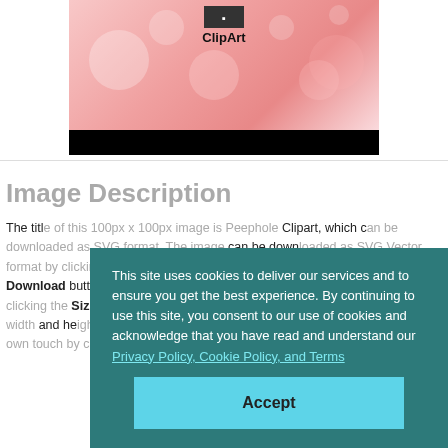[Figure (illustration): ClipArt image with pink bokeh background and black bar at bottom, labeled 'ClipArt']
Image Description
The title of this 100px x 100px image is Peephole Clipart, which can be downloaded as SVG format. The image can be downloaded as SVG Vector format by clicking the SVG button, or as Raster format by clicking the Download button. Choose a size of 256px, 512px, or Custom Size by clicking the Size button. The Custom Size option enables you to specify the desired width and height of the image. You can remix or edit the image to add your own touch by clicking the Edit button. Finally, the PNG image is available to use under a permissive license by clicking...
This site uses cookies to deliver our services and to ensure you get the best experience. By continuing to use this site, you consent to our use of cookies and acknowledge that you have read and understand our Privacy Policy, Cookie Policy, and Terms
Accept